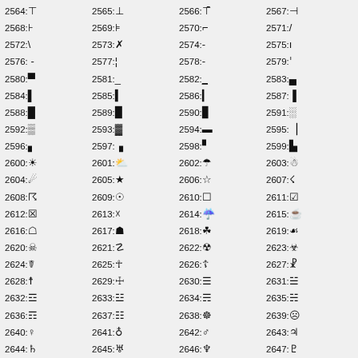| 2564:⊤ | 2565:⊥ | 2566:⊤̄ | 2567:⊥̄ |
| 2568:⊦ | 2569:⊧ | 2570:⌐ | 2571:/ |
| 2572:\ | 2573:✗ | 2574:- | 2575:ı |
| 2576: - | 2577:¦ | 2578:‐ | 2579:ˈ |
| 2580:■ | 2581:_ | 2582:_ | 2583:▄ |
| 2584:▌ | 2585:▌ | 2586:▌ | 2587:▐ |
| 2588:█ | 2589:▉ | 2590:▊ | 2591:░ |
| 2592:▒ | 2593:▓ | 2594:▬ | 2595:▕ |
| 2596:▖ | 2597:▗ | 2598:▘ | 2599:▙ |
| 2600:☀ | 2601:⛅ | 2602:☂ | 2603:☃ |
| 2604:☄ | 2605:★ | 2606:☆ | 2607:☇ |
| 2608:☈ | 2609:☉ | 2610:☐ | 2611:☑ |
| 2612:☒ | 2613:☓ | 2614:☔ | 2615:☕ |
| 2616:☖ | 2617:☗ | 2618:☘ | 2619:☙ |
| 2620:☠ | 2621:☡ | 2622:☢ | 2623:☣ |
| 2624:☤ | 2625:☥ | 2626:☦ | 2627:☧ |
| 2628:☨ | 2629:☩ | 2630:☰ | 2631:☱ |
| 2632:☲ | 2633:☳ | 2634:☴ | 2635:☵ |
| 2636:☶ | 2637:☷ | 2638:☸ | 2639:☹ |
| 2640:♀ | 2641:♁ | 2642:♂ | 2643:♃ |
| 2644:♄ | 2645:♅ | 2646:♆ | 2647:♇ |